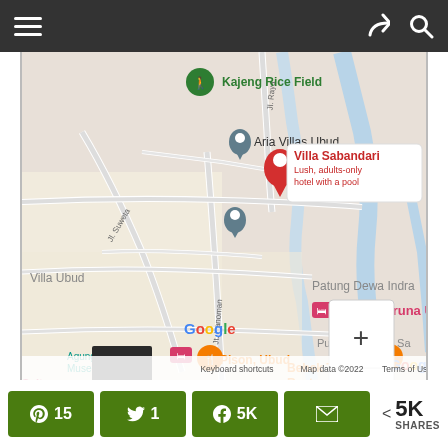[Figure (screenshot): Top navigation bar with hamburger menu on left and share/search icons on right, dark gray background]
[Figure (map): Google Maps screenshot showing area around Ubud, Bali with markers for Villa Sabandari (red, selected, Lush adults-only hotel with a pool), Aria Villas Ubud, Kajeng Rice Field, Villa Dharuna Ubud, Pison Ubud, Bebek Tepi Sawah Restaurant Ubud, Agung Rai Museum of Art, Patung Dewa Indra, Pura Penataran Sa. Streets include Jl. Suweta, Jl. Hanoman, Jl. Raya. Zoom controls (+/-) in lower right. Map data 2022, Keyboard shortcuts, Terms of Use at bottom. Google logo visible.]
[Figure (infographic): Social share bar with Pinterest (15), Twitter (1), Facebook (5K), Email buttons in dark olive green, and total 5K SHARES on right]